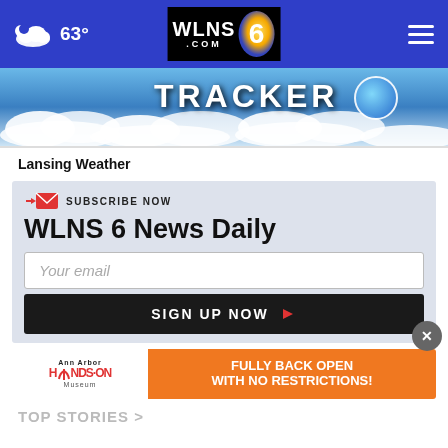63° WLNS.COM 6
[Figure (screenshot): Weather tracker banner with text TRACKER on sky/clouds background]
Lansing Weather
SUBSCRIBE NOW
WLNS 6 News Daily
Your email
SIGN UP NOW
[Figure (infographic): Ann Arbor Hands-On Museum advertisement: FULLY BACK OPEN WITH NO RESTRICTIONS!]
TOP STORIES >